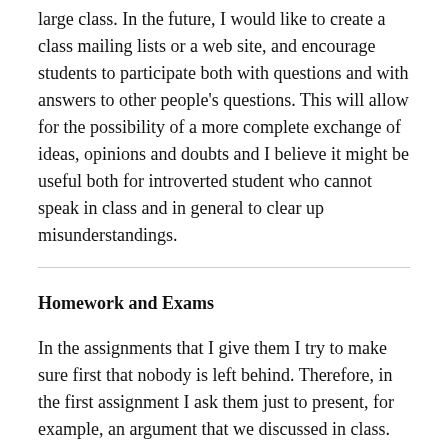large class. In the future, I would like to create a class mailing lists or a web site, and encourage students to participate both with questions and with answers to other people's questions. This will allow for the possibility of a more complete exchange of ideas, opinions and doubts and I believe it might be useful both for introverted student who cannot speak in class and in general to clear up misunderstandings.
Homework and Exams
In the assignments that I give them I try to make sure first that nobody is left behind. Therefore, in the first assignment I ask them just to present, for example, an argument that we discussed in class. And only if they successfully accomplish that can we move to the second step, that is to report what the